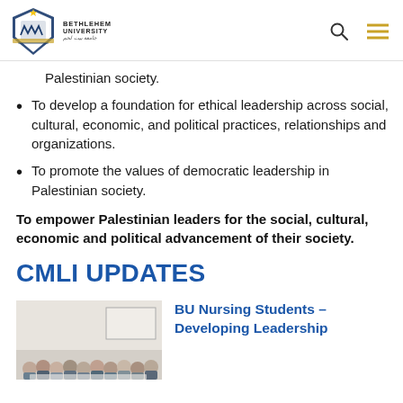Bethlehem University
Palestinian society.
To develop a foundation for ethical leadership across social, cultural, economic, and political practices, relationships and organizations.
To promote the values of democratic leadership in Palestinian society.
To empower Palestinian leaders for the social, cultural, economic and political advancement of their society.
CMLI UPDATES
[Figure (photo): Group photo of nursing students in a classroom/meeting room setting]
BU Nursing Students – Developing Leadership